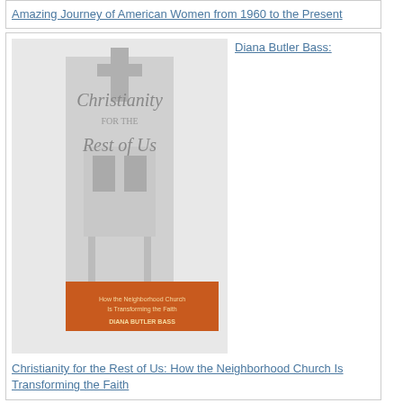Amazing Journey of American Women from 1960 to the Present
Diana Butler Bass: Christianity for the Rest of Us: How the Neighborhood Church Is Transforming the Faith
Tom Reiss: The Black Count: Glory, Revolution, Betrayal, and the Real Count of Monte Cristo
Phil